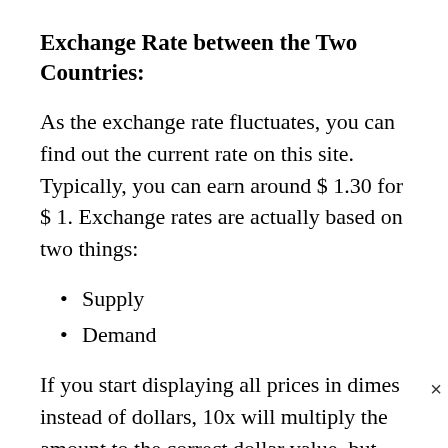Exchange Rate between the Two Countries:
As the exchange rate fluctuates, you can find out the current rate on this site. Typically, you can earn around $ 1.30 for $ 1. Exchange rates are actually based on two things:
Supply
Demand
If you start displaying all prices in dimes instead of dollars, 10x will multiply the amount to the correct dollar value, but the